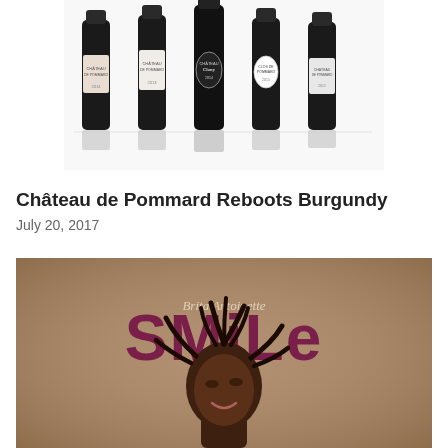[Figure (photo): Five dark wine bottles from Château de Pommard arranged in a row with white labels, photographed against a white background with reflections beneath them.]
Château de Pommard Reboots Burgundy
July 20, 2017
[Figure (photo): Album cover for 'Smile' by Brita Antoinette showing a young Black woman with locs smiling upward against a warm brown background. The word 'smile' is displayed in large dark magenta/maroon block letters with 'Brita Antoinette' in smaller script above.]